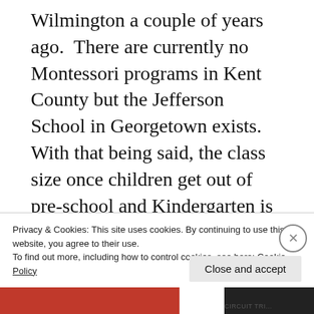Wilmington a couple of years ago.  There are currently no Montessori programs in Kent County but the Jefferson School in Georgetown exists.  With that being said, the class size once children get out of pre-school and Kindergarten is only six to eight students per class.  It is not considered a good school by many parents in the area according to an anonymous source.  Typically, as in
Privacy & Cookies: This site uses cookies. By continuing to use this website, you agree to their use.
To find out more, including how to control cookies, see here: Cookie Policy
Close and accept